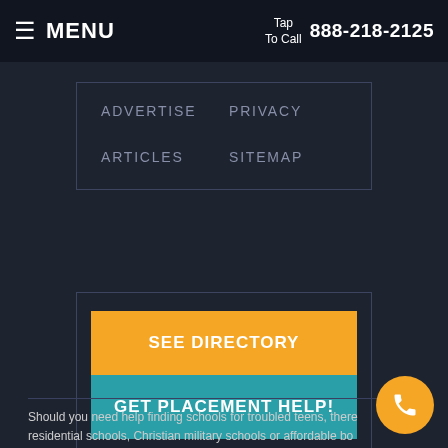≡ MENU   Tap To Call 888-218-2125
ADVERTISE
PRIVACY
ARTICLES
SITEMAP
SEE DIRECTORY
GET PLACEMENT HELP!
Should you need help finding schools for troubled teens, there residential schools, Christian military schools or affordable bo schools, please let us know. Boarding school students live on campus,